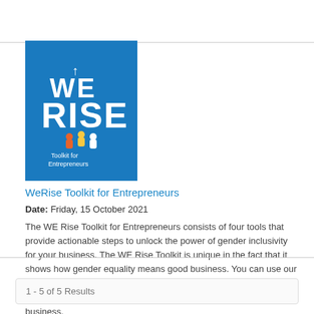[Figure (illustration): Book cover for WeRise Toolkit for Entrepreneurs on a blue background with 'WE RISE' text and 'Toolkit for Entrepreneurs' subtitle]
WeRise Toolkit for Entrepreneurs
Date: Friday, 15 October 2021
The WE Rise Toolkit for Entrepreneurs consists of four tools that provide actionable steps to unlock the power of gender inclusivity for your business. The WE Rise Toolkit is unique in the fact that it shows how gender equality means good business. You can use our four tools in an iterative manner. Once you've completed all four tools you can start over as to further sharpen your gender inclusive business.
1 - 5 of 5 Results